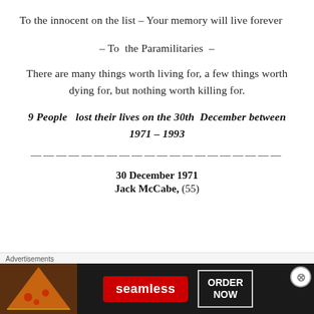To the innocent on the list – Your memory will live forever
– To the Paramilitaries –
There are many things worth living for, a few things worth dying for, but nothing worth killing for.
9 People lost their lives on the 30th December between 1971 – 1993
————————————————————
30 December 1971
Jack McCabe, (55)
[Figure (other): Seamless food delivery advertisement banner with pizza image, Seamless logo in red, and ORDER NOW button]